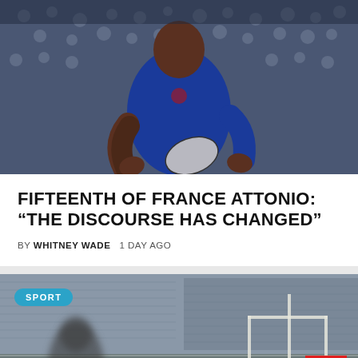[Figure (photo): Rugby player in blue France jersey holding ball during match, crowd in background]
FIFTEENTH OF FRANCE ATTONIO: “THE DISCOURSE HAS CHANGED”
BY WHITNEY WADE   1 DAY AGO
[Figure (photo): Rugby player kicking at goalposts in an empty stadium, Sport badge overlay]
SPORT